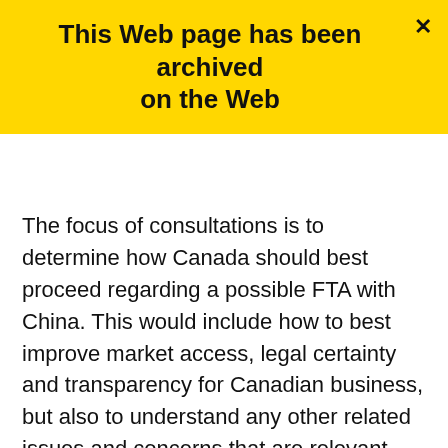This Web page has been archived on the Web
The focus of consultations is to determine how Canada should best proceed regarding a possible FTA with China. This would include how to best improve market access, legal certainty and transparency for Canadian business, but also to understand any other related issues and concerns that are relevant when considering a possible FTA.
A Canada Gazette notice on consultations on a possible Canada-China FTA provides background information on the Canada-